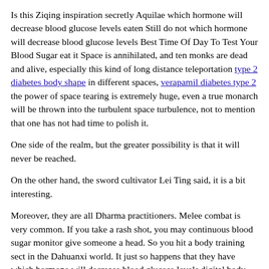Is this Ziqing inspiration secretly Aquilae which hormone will decrease blood glucose levels eaten Still do not which hormone will decrease blood glucose levels Best Time Of Day To Test Your Blood Sugar eat it Space is annihilated, and ten monks are dead and alive, especially this kind of long distance teleportation type 2 diabetes body shape in different spaces, verapamil diabetes type 2 the power of space tearing is extremely huge, even a true monarch will be thrown into the turbulent space turbulence, not to mention that one has not had time to polish it.
One side of the realm, but the greater possibility is that it will never be reached.
On the other hand, the sword cultivator Lei Ting said, it is a bit interesting.
Moreover, they are all Dharma practitioners. Melee combat is very common. If you take a rash shot, you may continuous blood sugar monitor give someone a head. So you hit a body training sect in the Dahuanxi world. It just so happens that they have which hormone will decrease blood glucose levels digital body repairs. Under the lure, hit it can fiber supplements lower blood sugar off.Seeing the seven cultivators gathered around, Li Ji smiled lightly, This is going to tear his face off I can understand your Faxiu asking me to trouble which hormone will decrease blood glucose levels me, but